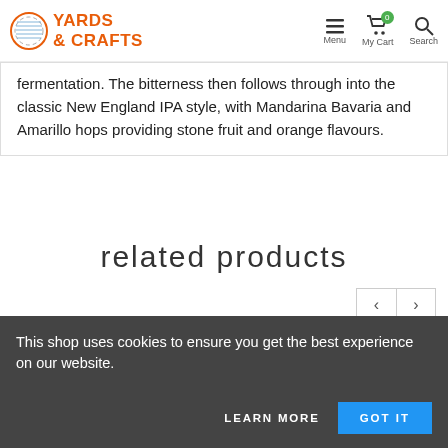YARDS & CRAFTS — Menu, My Cart, Search
fermentation. The bitterness then follows through into the classic New England IPA style, with Mandarina Bavaria and Amarillo hops providing stone fruit and orange flavours.
related products
[Figure (photo): Two product images partially visible at bottom of page]
This shop uses cookies to ensure you get the best experience on our website.